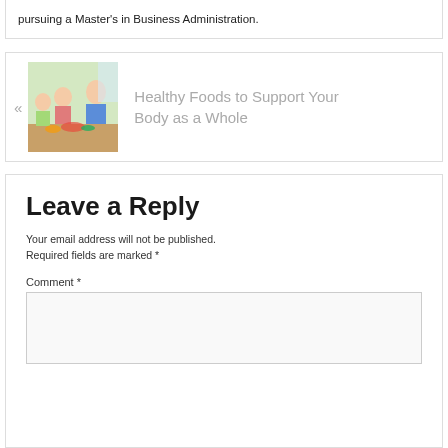pursuing a Master's in Business Administration.
[Figure (photo): Children eating healthy food at a table with an adult]
Healthy Foods to Support Your Body as a Whole
Leave a Reply
Your email address will not be published. Required fields are marked *
Comment *